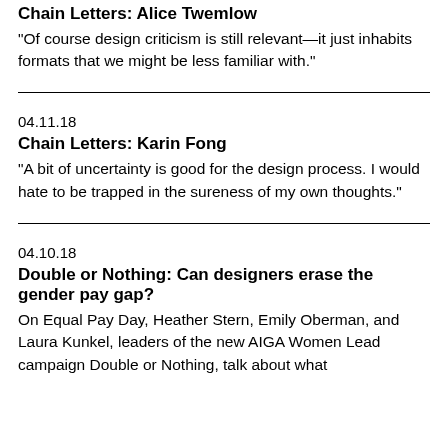Chain Letters: Alice Twemlow
“Of course design criticism is still relevant—it just inhabits formats that we might be less familiar with.”
04.11.18
Chain Letters: Karin Fong
“A bit of uncertainty is good for the design process. I would hate to be trapped in the sureness of my own thoughts.”
04.10.18
Double or Nothing: Can designers erase the gender pay gap?
On Equal Pay Day, Heather Stern, Emily Oberman, and Laura Kunkel, leaders of the new AIGA Women Lead campaign Double or Nothing, talk about what